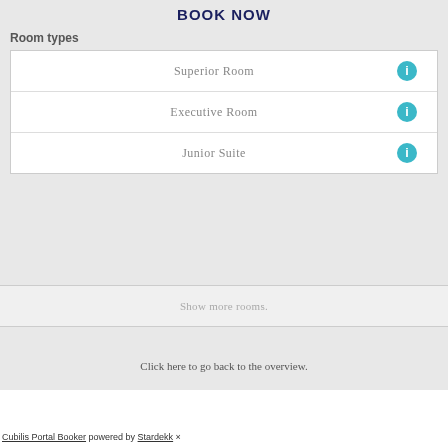BOOK NOW
Room types
Superior Room
Executive Room
Junior Suite
Show more rooms.
Click here to go back to the overview.
Cubilis Portal Booker powered by Stardekk ×